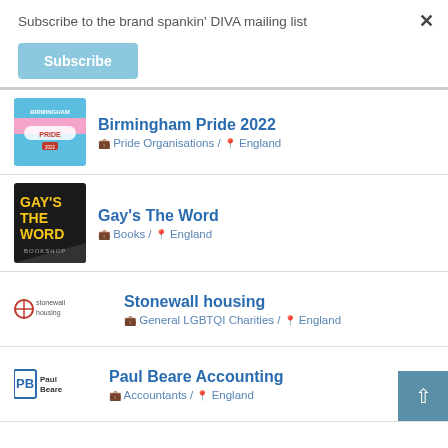Subscribe to the brand spankin' DIVA mailing list
Subscribe
Birmingham Pride 2022 / Pride Organisations / England
Gay's The Word / Books / England
Stonewall housing / General LGBTQI Charities / England
Paul Beare Accounting / Accountants / England